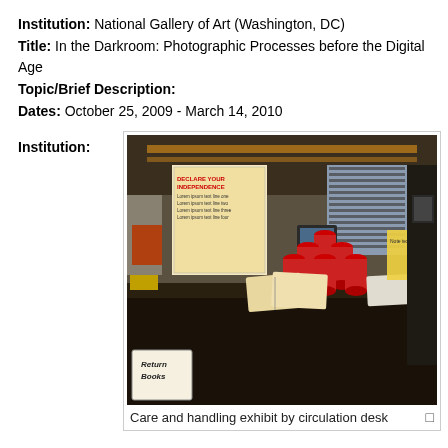Institution: National Gallery of Art (Washington, DC)
Title: In the Darkroom: Photographic Processes before the Digital Age
Topic/Brief Description:
Dates: October 25, 2009 - March 14, 2010
Institution:
[Figure (photo): Interior of a library circulation desk area with red cups stacked in a pyramid, books open on the desk, posters on the wall, and a 'Return Books' sign in the foreground.]
Care and handling exhibit by circulation desk
Northwestern University Library (Evanston, IL)
Title: Preservation Awareness